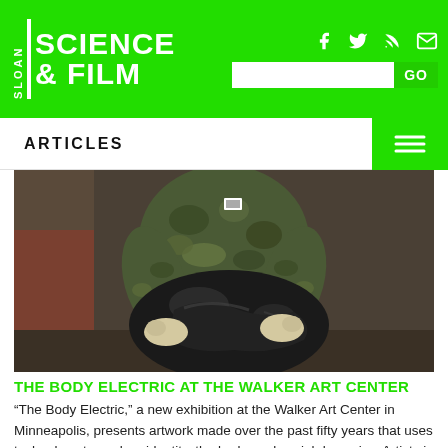SLOAN SCIENCE & FILM
ARTICLES
[Figure (photo): Person in camouflage jacket carrying a large black plastic garbage bag]
THE BODY ELECTRIC at the WALKER ART CENTER
“The Body Electric,” a new exhibition at the Walker Art Center in Minneapolis, presents artwork made over the past fifty years that uses technology to explore identity, the body, and social dynamics. Artists in the exhibition include Nam June Paik,